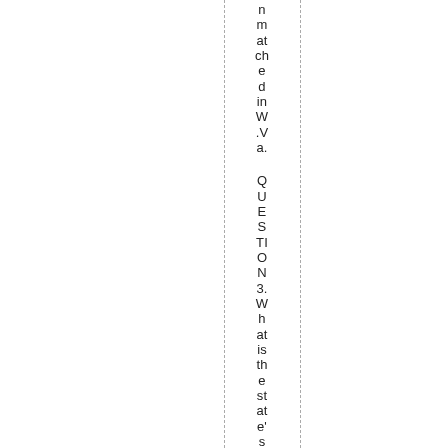n matched in W.Va.
QUESTION 3. What is the state's m